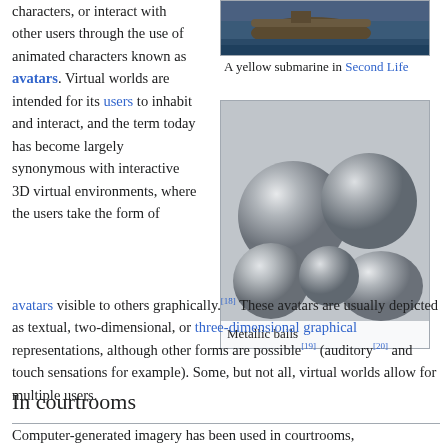characters, or interact with other users through the use of animated characters known as avatars. Virtual worlds are intended for its users to inhabit and interact, and the term today has become largely synonymous with interactive 3D virtual environments, where the users take the form of
[Figure (photo): A yellow submarine in Second Life - partial image showing water and submarine at top]
A yellow submarine in Second Life
[Figure (photo): Metallic balls - rendered metallic spheres]
Metallic balls
avatars visible to others graphically.[18] These avatars are usually depicted as textual, two-dimensional, or three-dimensional graphical representations, although other forms are possible[19] (auditory[20] and touch sensations for example). Some, but not all, virtual worlds allow for multiple users.
In courtrooms
Computer-generated imagery has been used in courtrooms,